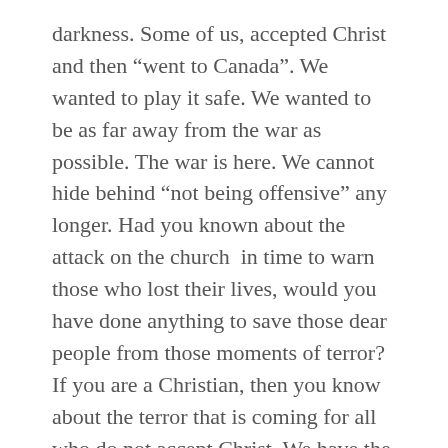darkness. Some of us, accepted Christ and then “went to Canada”. We wanted to play it safe. We wanted to be as far away from the war as possible. The war is here. We cannot hide behind “not being offensive” any longer. Had you known about the attack on the church  in time to warn those who lost their lives, would you have done anything to save those dear people from those moments of terror? If you are a Christian, then you know about the terror that is coming for all who do not accept Christ. We have the ability to warn others.
My challenge is this: Re-engage the enemy.
I have personally entered into a covenant with